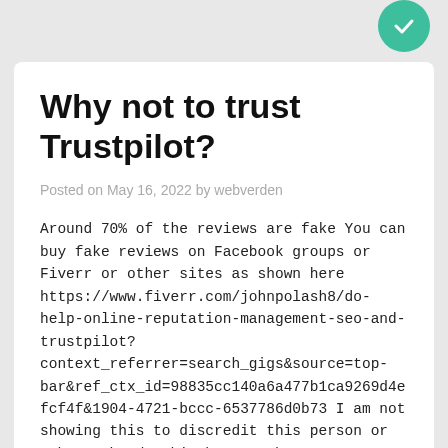Why not to trust Trustpilot?
Posted on May 16, 2022 by webverden
Around 70% of the reviews are fake You can buy fake reviews on Facebook groups or Fiverr or other sites as shown here https://www.fiverr.com/johnpolash8/do-help-online-reputation-management-seo-and-trustpilot?context_referrer=search_gigs&source=top-bar&ref_ctx_id=98835cc140a6a477b1ca9269d4efcf4f&1904-4721-bccc-6537786d0b73 I am not showing this to discredit this person or others who do this but to show you can get fake